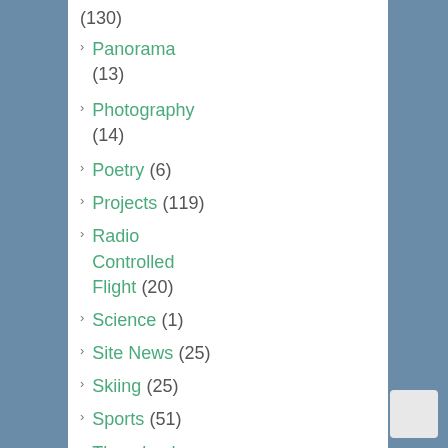(130)
Panorama (13)
Photography (14)
Poetry (6)
Projects (119)
Radio Controlled Flight (20)
Science (1)
Site News (25)
Skiing (25)
Sports (51)
Throwback Thursday (32)
Timelapse (18)
Travel (88)